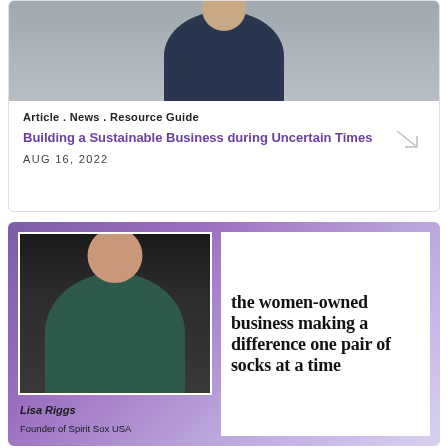[Figure (photo): Portrait photo of a woman in a dark blazer with pearl necklace, cropped from shoulders up, gray background]
Article . News . Resource Guide
Building a Sustainable Business during Uncertain Times
AUG 16, 2022
[Figure (photo): Lisa Riggs, Founder of Spirit Sox USA, smiling portrait photo on dark background wearing teal top, with headline text 'the women-owned business making a difference one pair of socks at a time']
Lisa Riggs
Founder of Spirit Sox USA